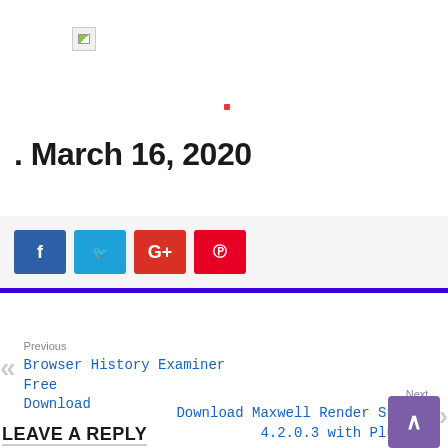[Figure (photo): Broken image placeholder icon in top area]
. March 16, 2020
[Figure (other): Social share buttons: Facebook (f), Twitter (bird), Google+, Pinterest]
Previous
Browser History Examiner Free Download
Next
Download Maxwell Render Studio 4.2.0.3 with Plugins
LEAVE A REPLY